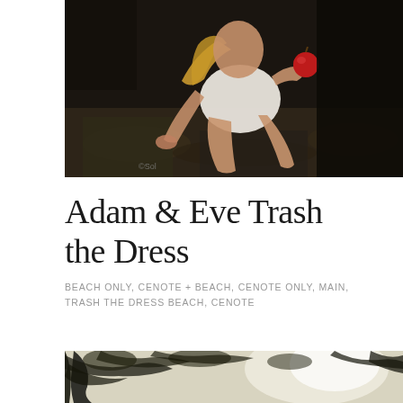[Figure (photo): Dark atmospheric photo of a young woman crouching on rocky ground, wearing a white outfit, holding a red apple. Her blonde hair falls forward. The scene is dimly lit with a dark background suggesting a cave or shaded area.]
Adam & Eve Trash the Dress
BEACH ONLY, CENOTE + BEACH, CENOTE ONLY, MAIN, TRASH THE DRESS BEACH, CENOTE
[Figure (photo): Partial photo showing treetops and bright sky, appearing to be an outdoor nature scene with trees silhouetted against light.]